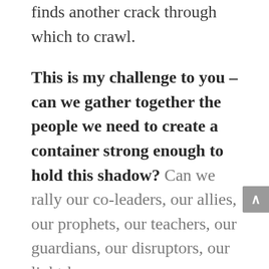finds another crack through which to crawl.
This is my challenge to you – can we gather together the people we need to create a container strong enough to hold this shadow? Can we rally our co-leaders, our allies, our prophets, our teachers, our guardians, our disruptors, our light-bearers, our disenfranchised, our marginalized, our priests, our caregivers, our helpers, our prayer